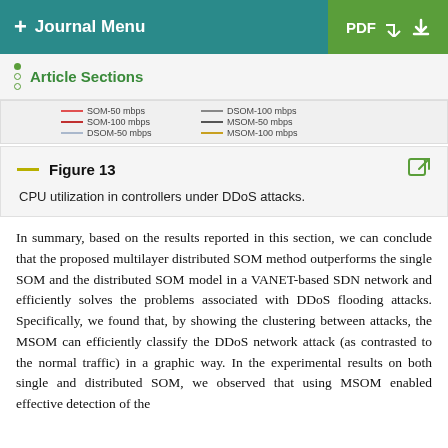+ Journal Menu   PDF
Article Sections
[Figure (other): Legend showing line styles for SOM-50 mbps, SOM-100 mbps, DSOM-50 mbps, DSOM-100 mbps, MSOM-50 mbps, MSOM-100 mbps]
Figure 13
CPU utilization in controllers under DDoS attacks.
In summary, based on the results reported in this section, we can conclude that the proposed multilayer distributed SOM method outperforms the single SOM and the distributed SOM model in a VANET-based SDN network and efficiently solves the problems associated with DDoS flooding attacks. Specifically, we found that, by showing the clustering between attacks, the MSOM can efficiently classify the DDoS network attack (as contrasted to the normal traffic) in a graphic way. In the experimental results on both single and distributed SOM, we observed that using MSOM enabled effective detection of the